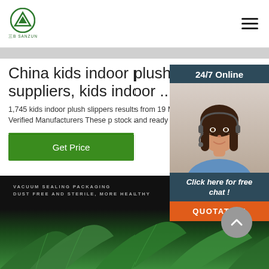[Figure (logo): Sanzun company logo — green circular emblem with mountain/triangle motif, text 三B SANZUN below]
China kids indoor plush slippers suppliers, kids indoor ...
1,745 kids indoor plush slippers results from 19 Manufacturers. Verified Manufacturers These p stock and ready to ship. Learn ...
[Figure (other): Get Price green button]
[Figure (other): 24/7 Online chat widget with photo of female customer service agent wearing headset, Click here for free chat! text, and QUOTATION orange button]
[Figure (photo): Dark background banner with text VACUUM SEALING PACKAGING / DUST FREE AND STERILE, MORE HEALTHY, green vegetable leaves at bottom, and scroll-up arrow button]